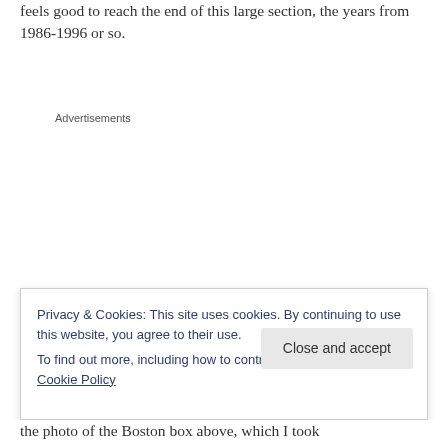feels good to reach the end of this large section, the years from 1986-1996 or so.
Advertisements
Privacy & Cookies: This site uses cookies. By continuing to use this website, you agree to their use.
To find out more, including how to control cookies, see here: Cookie Policy
Close and accept
the photo of the Boston box above, which I took